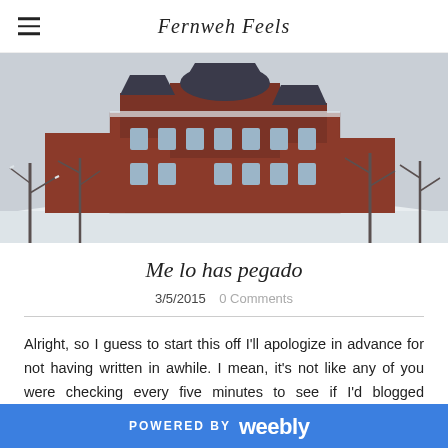Fernweh Feels
[Figure (photo): Winter photograph of a large red-brick Victorian-style university building with snow-covered trees in the foreground and a grey sky background.]
Me lo has pegado
3/5/2015   0 Comments
Alright, so I guess to start this off I'll apologize in advance for not having written in awhile. I mean, it's not like any of you were checking every five minutes to see if I'd blogged recently, but I feel an
POWERED BY Weebly